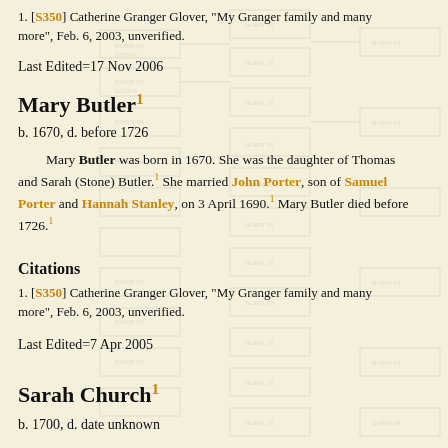1. [S350] Catherine Granger Glover, "My Granger family and many more", Feb. 6, 2003, unverified.
Last Edited=17 Nov 2006
Mary Butler¹
b. 1670, d. before 1726
Mary Butler was born in 1670. She was the daughter of Thomas and Sarah (Stone) Butler.¹ She married John Porter, son of Samuel Porter and Hannah Stanley, on 3 April 1690.¹ Mary Butler died before 1726.¹
Citations
1. [S350] Catherine Granger Glover, "My Granger family and many more", Feb. 6, 2003, unverified.
Last Edited=7 Apr 2005
Sarah Church¹
b. 1700, d. date unknown